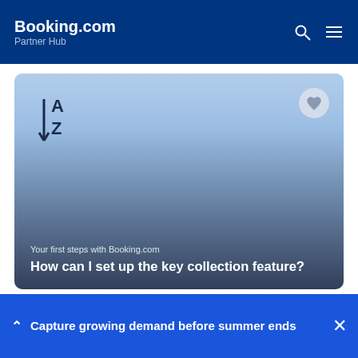Booking.com Partner Hub
[Figure (screenshot): Card with A-Z sort icon on blue gradient background showing article category and title. Heart/favorite icon in top right of card.]
Your first steps with Booking.com
How can I set up the key collection feature?
Note: At the moment, we're only sharing info on the key collection process and pick-up location with
Capture growing demand before summer ends